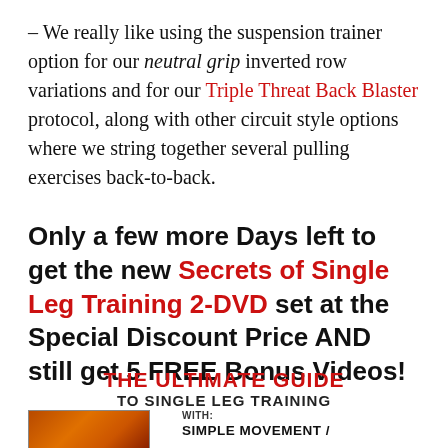– We really like using the suspension trainer option for our neutral grip inverted row variations and for our Triple Threat Back Blaster protocol, along with other circuit style options where we string together several pulling exercises back-to-back.
Only a few more Days left to get the new Secrets of Single Leg Training 2-DVD set at the Special Discount Price AND still get 5 FREE Bonus Videos!
THE ULTIMATE GUIDE TO SINGLE LEG TRAINING
WITH: SIMPLE MOVEMENT /